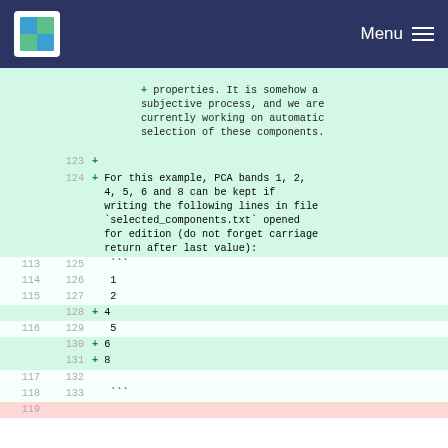Menu
| old | new | code |
| --- | --- | --- |
|  |  | + properties. It is somehow a subjective process, and we are currently working on automatic selection of these components. |
|  | 123 | + |
|  | 124 | + For this example, PCA bands 1, 2, 4, 5, 6 and 8 can be kept if writing the following lines in file `selected_components.txt` opened for edition (do not forget carriage return after last value): |
| 113 | 125 |    ``` |
| 114 | 126 |    1 |
| 115 | 127 |    2 |
|  | 128 | + 4 |
| 116 | 129 |    5 |
|  | 130 | + 6 |
|  | 131 | + 8 |
| 117 | 132 |  |
| 118 | 133 |    ``` |
| 119 |  |  |